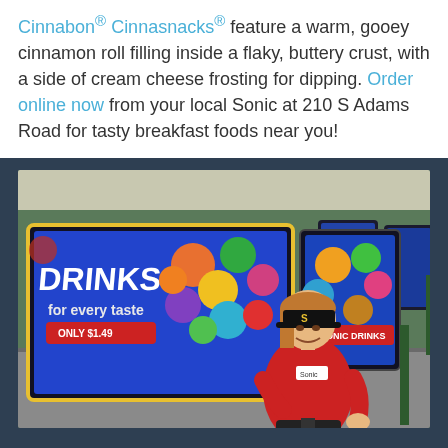Cinnabon® Cinnasnacks® feature a warm, gooey cinnamon roll filling inside a flaky, buttery crust, with a side of cream cheese frosting for dipping. Order online now from your local Sonic at 210 S Adams Road for tasty breakfast foods near you!
[Figure (photo): A Sonic Drive-In carhop employee in a red shirt, black visor with Sonic logo, and black apron standing in front of illuminated menu boards displaying drinks and food items in an outdoor drive-in lane. The menu boards have a blue background with colorful circular food/drink graphics.]